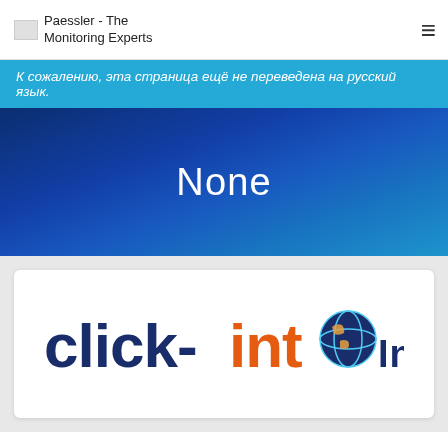Paessler - The Monitoring Experts
К сожалению, эта страница ещё не переведена на русский язык.
None
[Figure (logo): click-into Inc. logo with globe icon — 'click-' in dark blue bold, 'into' in orange bold, globe replacing the 'o', 'Inc.' in dark blue]